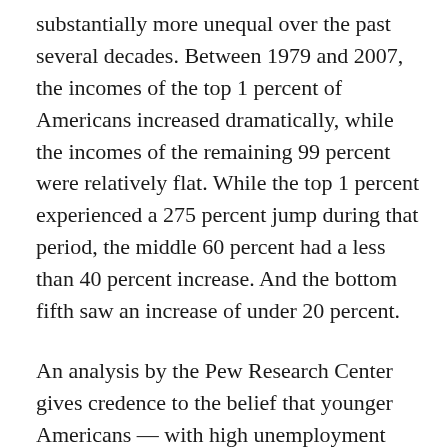substantially more unequal over the past several decades. Between 1979 and 2007, the incomes of the top 1 percent of Americans increased dramatically, while the incomes of the remaining 99 percent were relatively flat. While the top 1 percent experienced a 275 percent jump during that period, the middle 60 percent had a less than 40 percent increase. And the bottom fifth saw an increase of under 20 percent.
An analysis by the Pew Research Center gives credence to the belief that younger Americans — with high unemployment and burgeoning student loans and mortgages — have it harder than their parents. Based on census data, the Pew study